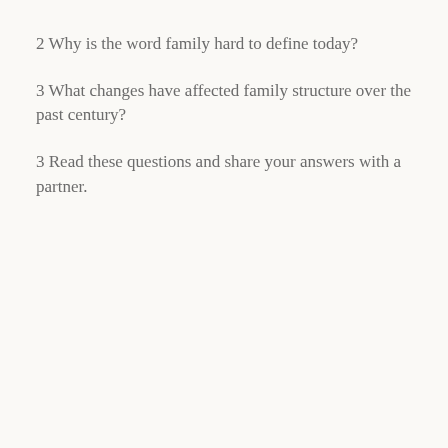2 Why is the word family hard to define today?
3 What changes have affected family structure over the past century?
3 Read these questions and share your answers with a partner.